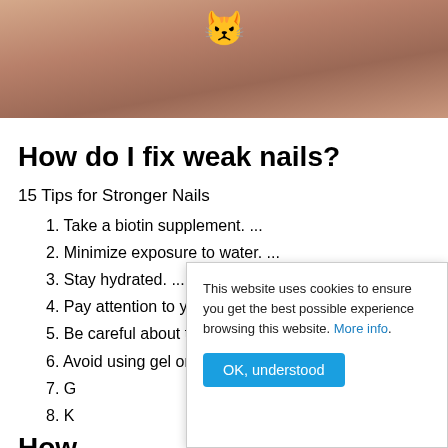[Figure (photo): Close-up photo of nails/hands with an emoji sticker overlay, brownish-pink tones]
How do I fix weak nails?
15 Tips for Stronger Nails
1. Take a biotin supplement. ...
2. Minimize exposure to water. ...
3. Stay hydrated. ...
4. Pay attention to your diet. ...
5. Be careful about the products you use. ...
6. Avoid using gel or acrylic nails, if possible. ...
7. G[text obscured by cookie banner] ...
8. K[text obscured by cookie banner]
How [obscured] grow overnight?
This website uses cookies to ensure you get the best possible experience browsing this website. More info.